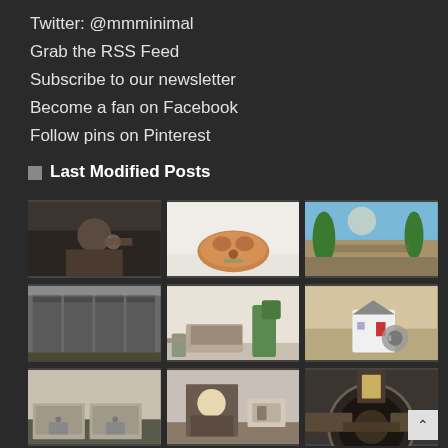Twitter: @mmminimal
Grab the RSS Feed
Subscribe to our newsletter
Become a fan on Facebook
Follow pins on Pinterest
Last Modified Posts
[Figure (photo): Person pointing finger at camera, close-up, blurred background]
[Figure (photo): Fluffy puppy lying down on white surface]
[Figure (photo): Tropical beach with palm trees and blue sky]
[Figure (photo): Storage facility with grey roll-up doors]
[Figure (photo): Living room interior with sofa and plants]
[Figure (photo): Miniature house model with key on wooden surface]
[Figure (photo): Residential garage doors exterior]
[Figure (photo): Blonde woman with glasses sitting at desk looking at camera]
[Figure (photo): Person driving car, hands on steering wheel]